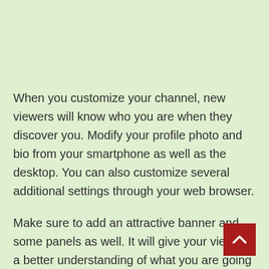When you customize your channel, new viewers will know who you are when they discover you. Modify your profile photo and bio from your smartphone as well as the desktop. You can also customize several additional settings through your web browser.
Make sure to add an attractive banner and some panels as well. It will give your viewers a better understanding of what you are going to stream. Plus, it can help you redirect viewers outside the Twitch platform with external links.